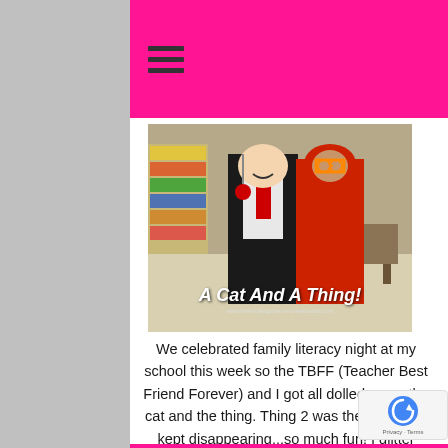Navigation menu (hamburger icon) on pink header bar
[Figure (photo): Two people dressed in costumes in a classroom — one in a black and white cat onesie, one in a red onesie with oversized orange glasses. Text overlay reads 'A Cat And A Thing!' with website www.thekindergartensmoreasboard.com]
We celebrated family literacy night at my school this week so the TBFF (Teacher Best Friend Forever) and I got all dolled up as the cat and the thing.  Thing 2 was there but she kept disappearing...so much fun!  I glitter heart my school!